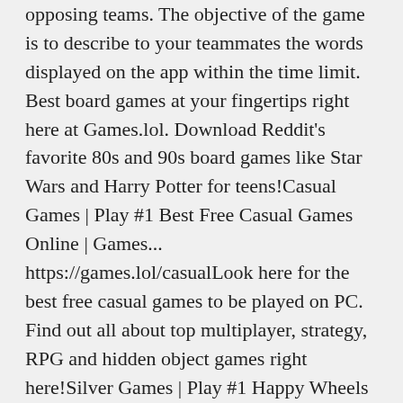opposing teams. The objective of the game is to describe to your teammates the words displayed on the app within the time limit. Best board games at your fingertips right here at Games.lol. Download Reddit's favorite 80s and 90s board games like Star Wars and Harry Potter for teens!Casual Games | Play #1 Best Free Casual Games Online | Games... https://games.lol/casualLook here for the best free casual games to be played on PC. Find out all about top multiplayer, strategy, RPG and hidden object games right here!Silver Games | Play #1 Happy Wheels Silver Games Online | Games... https://games.lol/silverWe got you covered with the best of silver games to play for free on PC! Hop onto your happy wheels and play some laid-back relaxing silvergames now!Emulators for PC (GameCube, PlayStation, Nintendo DS & 64)https://rockybytes.com/emulatorsDownload Emulators for PC for free: Emulate your favorite console and play games from your GameCube, Wii, PlayStation, Nintendo 64, Nintendo DS, and